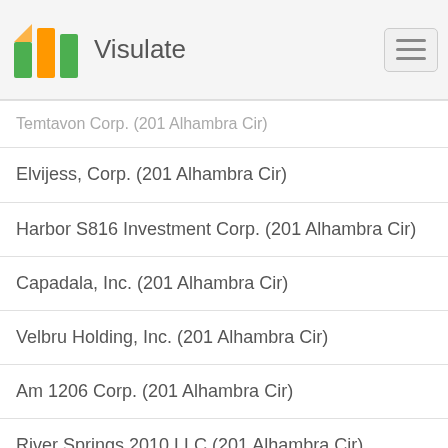Visulate
Temtavon Corp. (201 Alhambra Cir)
Elvijess, Corp. (201 Alhambra Cir)
Harbor S816 Investment Corp. (201 Alhambra Cir)
Capadala, Inc. (201 Alhambra Cir)
Velbru Holding, Inc. (201 Alhambra Cir)
Am 1206 Corp. (201 Alhambra Cir)
River Springs 2010 LLC (201 Alhambra Cir)
Arias Advisors, LLC (201 Alhambra Cir)
Sabal Palm Strategies LLC (201 Alhambra Cir)
Brian C. Perlin, P.A. (201 Alhambra Cir Suite 503)